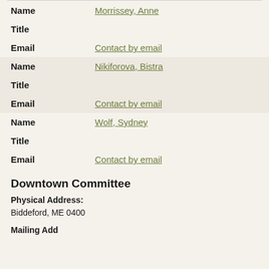| Field | Value |
| --- | --- |
| Name | Morrissey, Anne |
| Title |  |
| Email | Contact by email |
| Name | Nikiforova, Bistra |
| Title |  |
| Email | Contact by email |
| Name | Wolf, Sydney |
| Title |  |
| Email | Contact by email |
Downtown Committee
Physical Address:
Biddeford, ME 0400